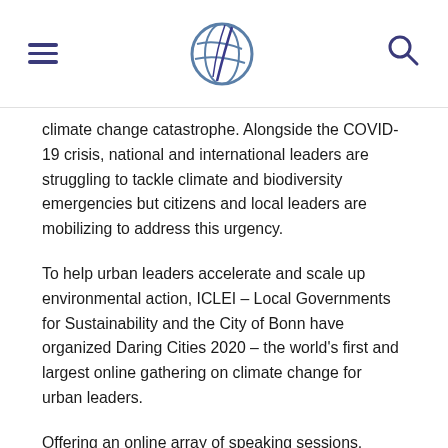ICLEI navigation header with hamburger menu, logo, and search icon
climate change catastrophe. Alongside the COVID-19 crisis, national and international leaders are struggling to tackle climate and biodiversity emergencies but citizens and local leaders are mobilizing to address this urgency.
To help urban leaders accelerate and scale up environmental action, ICLEI – Local Governments for Sustainability and the City of Bonn have organized Daring Cities 2020 – the world's first and largest online gathering on climate change for urban leaders.
Offering an online array of speaking sessions, informative workshops and networking opportunities, Daring Cities 2020 will run between 7-28 October 2020. Urban thought-leaders and changemakers will gather for three weeks – virtually – to